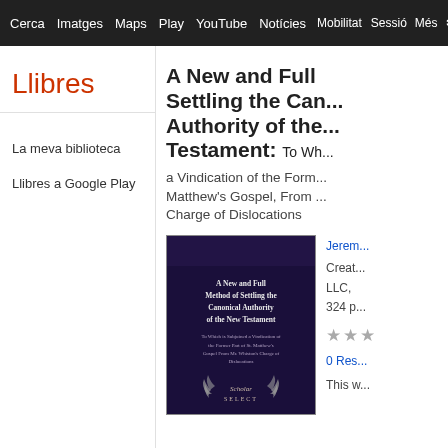Cerca  Imatges  Maps  Play  YouTube  Notícies  Mobilitat  Sessió  Més
Llibres
La meva biblioteca
Llibres a Google Play
A New and Full Settling the Canonical Authority of the New Testament: To Which is Subjoined a Vindication of the Former Part of St. Matthew's Gospel, From Mr. Whiston's Charge of Dislocations
[Figure (illustration): Book cover of 'A New and Full Method of Settling the Canonical Authority of the New Testament' with Scholar Select badge, dark purple background]
Jerem...
Creat... LLC,
324 p...
★★★
0 Res...
This w...